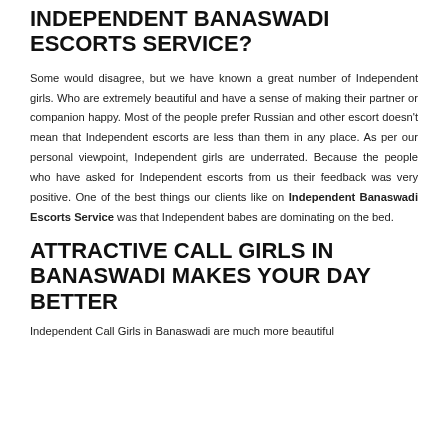INDEPENDENT BANASWADI ESCORTS SERVICE?
Some would disagree, but we have known a great number of Independent girls. Who are extremely beautiful and have a sense of making their partner or companion happy. Most of the people prefer Russian and other escort doesn't mean that Independent escorts are less than them in any place. As per our personal viewpoint, Independent girls are underrated. Because the people who have asked for Independent escorts from us their feedback was very positive. One of the best things our clients like on Independent Banaswadi Escorts Service was that Independent babes are dominating on the bed.
ATTRACTIVE CALL GIRLS IN BANASWADI MAKES YOUR DAY BETTER
Independent Call Girls in Banaswadi are much more beautiful